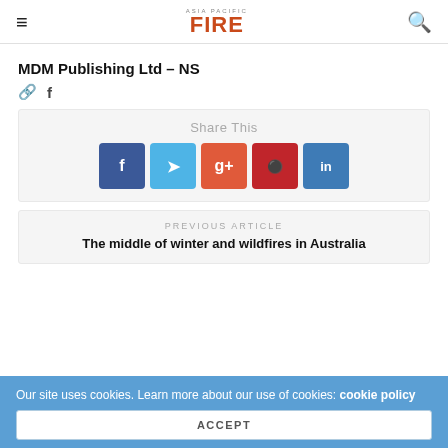Asia Pacific FIRE
MDM Publishing Ltd – NS
link icon  f
[Figure (infographic): Share This panel with social media buttons: Facebook (blue), Twitter (light blue), Google+ (orange-red), Pinterest (red), LinkedIn (blue)]
PREVIOUS ARTICLE
The middle of winter and wildfires in Australia
Our site uses cookies. Learn more about our use of cookies: cookie policy
ACCEPT